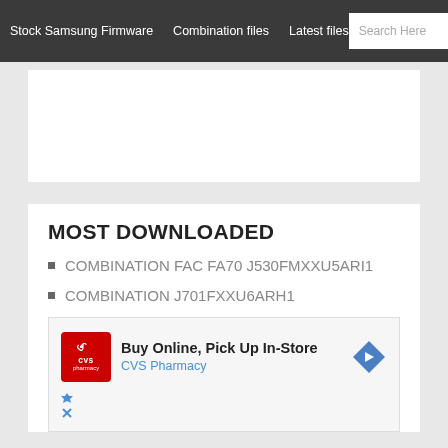Stock Samsung Firmware   Combination files   Latest files
[Figure (screenshot): Search bar with placeholder 'Search Here' and Search button]
[Figure (other): White advertisement placeholder block]
MOST DOWNLOADED
COMBINATION FAC FA70 J530FMXXU5ARI1
COMBINATION J701FXXU6ARH1
[Figure (other): CVS Pharmacy advertisement: Buy Online, Pick Up In-Store with CVS Pharmacy logo and navigation arrow icon]